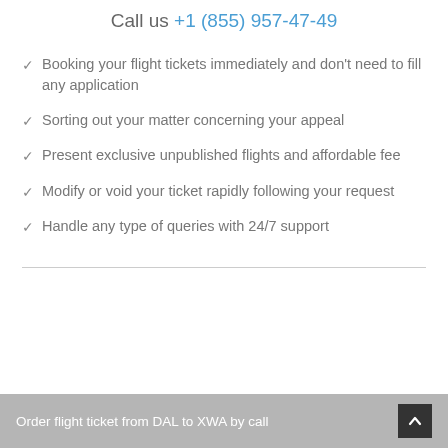Call us +1 (855) 957-47-49
Booking your flight tickets immediately and don't need to fill any application
Sorting out your matter concerning your appeal
Present exclusive unpublished flights and affordable fee
Modify or void your ticket rapidly following your request
Handle any type of queries with 24/7 support
Order flight ticket from DAL to XWA by call